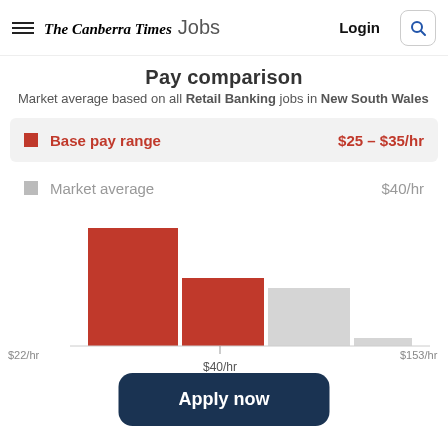The Canberra Times Jobs | Login
Pay comparison
Market average based on all Retail Banking jobs in New South Wales
Base pay range   $25 - $35/hr
Market average   $40/hr
[Figure (histogram): Pay comparison histogram]